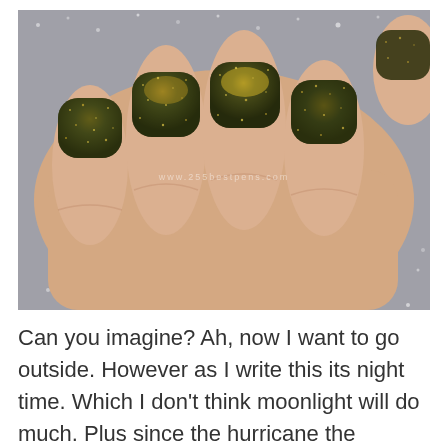[Figure (photo): Close-up photograph of a hand showing four fingers with dark olive/black glitter nail polish that has a golden shimmer effect. The background has a sparkly silver/glitter texture. A faint watermark reads 'www.255bestpens.com'.]
Can you imagine? Ah, now I want to go outside. However as I write this its night time. Which I don't think moonlight will do much. Plus since the hurricane the